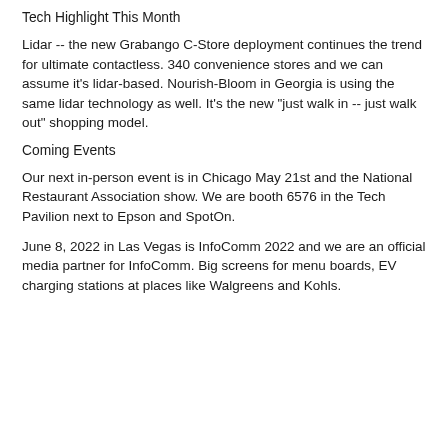Tech Highlight This Month
Lidar -- the new Grabango C-Store deployment continues the trend for ultimate contactless. 340 convenience stores and we can assume it's lidar-based. Nourish-Bloom in Georgia is using the same lidar technology as well. It's the new "just walk in -- just walk out" shopping model.
Coming Events
Our next in-person event is in Chicago May 21st and the National Restaurant Association show. We are booth 6576 in the Tech Pavilion next to Epson and SpotOn.
June 8, 2022 in Las Vegas is InfoComm 2022 and we are an official media partner for InfoComm. Big screens for menu boards, EV charging stations at places like Walgreens and Kohls.